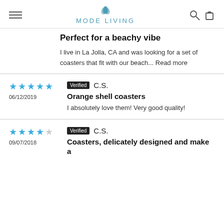MODE LIVING
Perfect for a beachy vibe
I live in La Jolla, CA and was looking for a set of coasters that fit with our beach... Read more
Verified C.S. 06/12/2019
Orange shell coasters
I absolutely love them! Very good quality!
Verified C.S. 09/07/2018
Coasters, delicately designed and make a